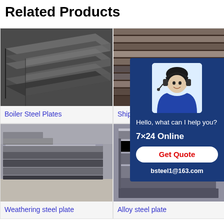Related Products
[Figure (photo): Close-up photo of stacked steel plates (Boiler Steel Plates)]
Boiler Steel Plates
[Figure (photo): Photo of stacked steel/metal sheets (Shipbuilding steel plate)]
Shipbuilding steel plate
[Figure (photo): Photo of stacked weathering steel plates in a warehouse]
Weathering steel plate
[Figure (photo): Photo of stacked alloy steel plate blocks]
Alloy steel plate
[Figure (infographic): Chat support widget with woman wearing headset. Text: Hello, what can I help you? 7×24 Online, Get Quote, bsteel1@163.com]